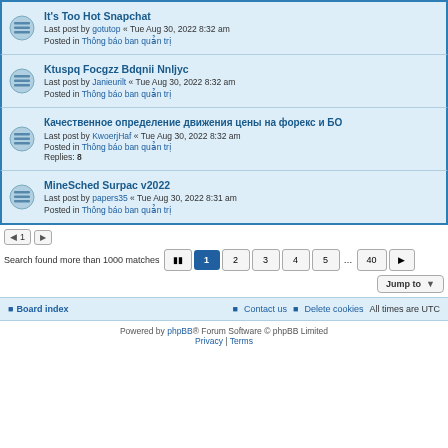It's Too Hot Snapchat — Last post by gotutop « Tue Aug 30, 2022 8:32 am — Posted in Thông báo ban quản trị
Ktuspq Focgzz Bdqnii Nnljyc — Last post by Janieurilt « Tue Aug 30, 2022 8:32 am — Posted in Thông báo ban quản trị
Качественное определение движения цены на форекс и БО — Last post by KwoerjHaf « Tue Aug 30, 2022 8:32 am — Posted in Thông báo ban quản trị — Replies: 8
MineSched Surpac v2022 — Last post by papers35 « Tue Aug 30, 2022 8:31 am — Posted in Thông báo ban quản trị
Search found more than 1000 matches  1 2 3 4 5 … 40
Jump to
Board index   Contact us   Delete cookies   All times are UTC
Powered by phpBB® Forum Software © phpBB Limited   Privacy | Terms